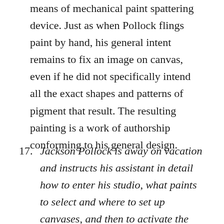means of mechanical paint spattering device. Just as when Pollock flings paint by hand, his general intent remains to fix an image on canvas, even if he did not specifically intend all the exact shapes and patterns of pigment that result. The resulting painting is a work of authorship conforming to his general design.
17. Jackson Pollock is away on vacation and instructs his assistant in detail how to enter his studio, what paints to select and where to set up canvases, and then to activate the random paint spewing machine. The assistant does so, resulting